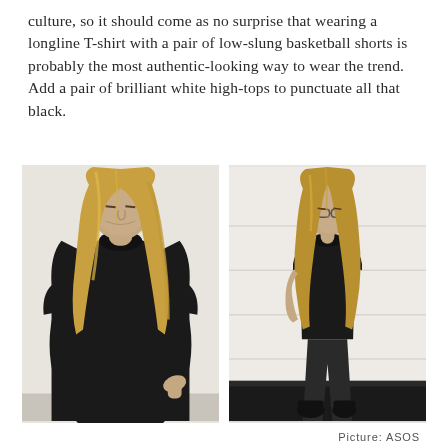culture, so it should come as no surprise that wearing a longline T-shirt with a pair of low-slung basketball shorts is probably the most authentic-looking way to wear the trend. Add a pair of brilliant white high-tops to punctuate all that black.
[Figure (photo): Two side-by-side fashion photos of a male model with long blonde hair wearing a black longline T-shirt. Left photo shows a close-up torso/head shot with the model looking down. Right photo shows full-body shot of the same model leaning against a white wall wearing black trousers and black shoes.]
Picture: ASOS